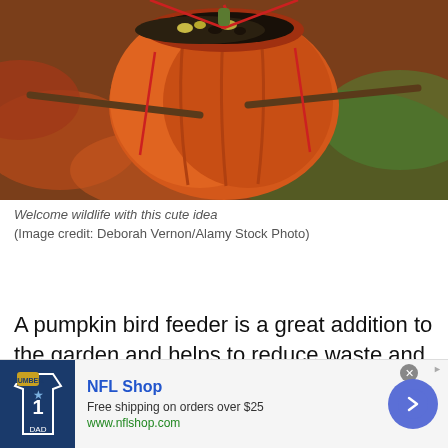[Figure (photo): A pumpkin bird feeder filled with seeds, suspended by red twine with wooden sticks inserted through it as perches, set against a blurred autumn foliage background.]
Welcome wildlife with this cute idea
(Image credit: Deborah Vernon/Alamy Stock Photo)
A pumpkin bird feeder is a great addition to the garden and helps to reduce waste and feed wildlife in the run-up to colder weather.
[Figure (other): Advertisement banner for NFL Shop: 'Free shipping on orders over $25, www.nflshop.com' with a Cowboys jersey image and a blue circular arrow button.]